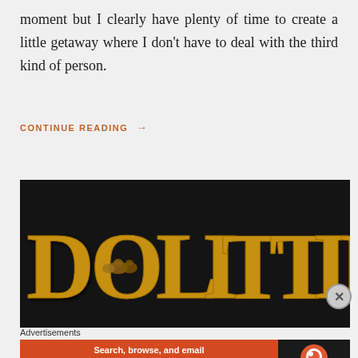moment but I clearly have plenty of time to create a little getaway where I don't have to deal with the third kind of person.
CONTINUE READING →
[Figure (photo): Movie title banner for 'Dolittle' — large gold/yellow 3D letters spelling DOLITTLE on a dark/black background, with small animal silhouettes inside the letter O]
Advertisements
[Figure (screenshot): DuckDuckGo advertisement banner: orange background on left with text 'Search, browse, and email with more privacy. All in One Free App', and dark background on right showing DuckDuckGo duck logo and brand name]